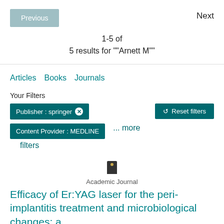Previous
Next
1-5 of
5 results for ""Arnett M""
Articles   Books   Journals
Your Filters
Reset filters
Publisher : springer ✕
Content Provider : MEDLINE
... more filters
Academic Journal
Efficacy of Er:YAG laser for the peri-implantitis treatment and microbiological changes: a